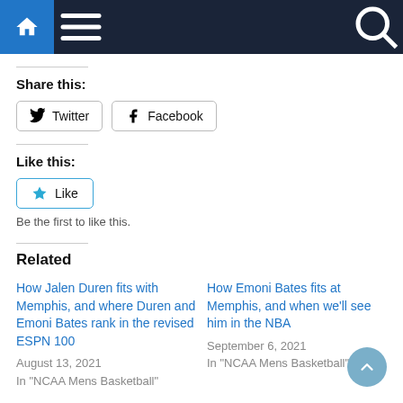Navigation bar with home, menu, and search icons
Share this:
Twitter  Facebook
Like this:
Like
Be the first to like this.
Related
How Jalen Duren fits with Memphis, and where Duren and Emoni Bates rank in the revised ESPN 100
August 13, 2021
In "NCAA Mens Basketball"
How Emoni Bates fits at Memphis, and when we'll see him in the NBA
September 6, 2021
In "NCAA Mens Basketball"